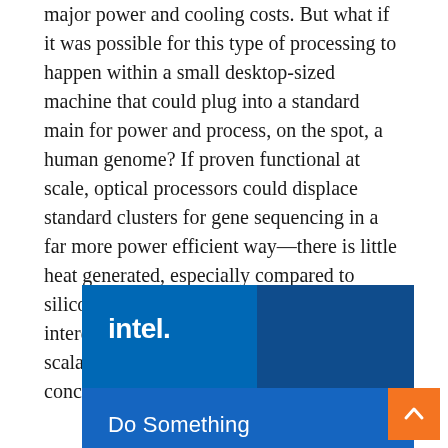major power and cooling costs. But what if it was possible for this type of processing to happen within a small desktop-sized machine that could plug into a standard main for power and process, on the spot, a human genome? If proven functional at scale, optical processors could displace standard clusters for gene sequencing in a far more power efficient way—there is little heat generated, especially compared to silicon technologies. And even more interesting, what if memory and the scalability limits therein were no longer a concern?
[Figure (screenshot): Intel advertisement banner with blue background, Intel logo in top-left area, and 'Do Something' text at the bottom.]